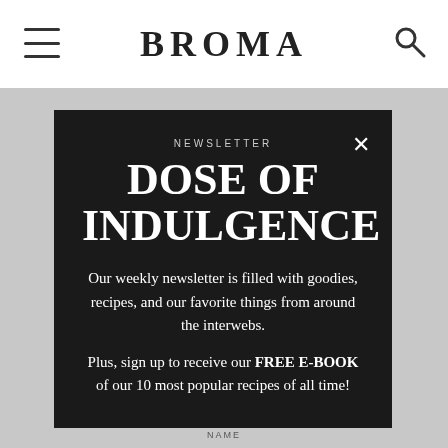BROMA
[Figure (screenshot): Website screenshot showing the Broma blog header with hamburger menu icon on the left, BROMA logo in the center, and search icon on the right, on a white background.]
NEWSLETTER
DOSE OF INDULGENCE
Our weekly newsletter is filled with goodies, recipes, and our favorite things from around the interwebs.
Plus, sign up to receive our FREE E-BOOK of our 10 most popular recipes of all time!
Leave a comment!
RECIPE RATING